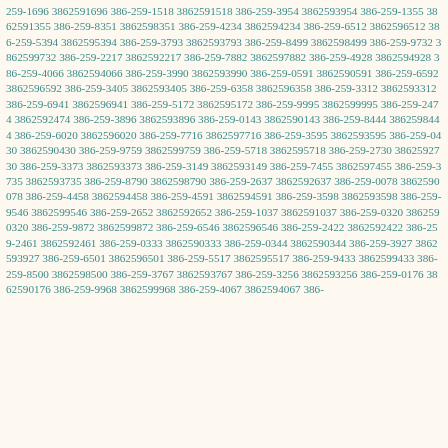259-1696 3862591696 386-259-1518 3862591518 386-259-3954 3862593954 386-259-1355 3862591355 386-259-8351 3862598351 386-259-4234 3862594234 386-259-6512 3862596512 386-259-5394 3862595394 386-259-3793 3862593793 386-259-8499 3862598499 386-259-9732 3862599732 386-259-2217 3862592217 386-259-7882 3862597882 386-259-4928 3862594928 386-259-4066 3862594066 386-259-3990 3862593990 386-259-0591 3862590591 386-259-6592 3862596592 386-259-3405 3862593405 386-259-6358 3862596358 386-259-3312 3862593312 386-259-6941 3862596941 386-259-5172 3862595172 386-259-9995 3862599995 386-259-2474 3862592474 386-259-3896 3862593896 386-259-0143 3862590143 386-259-8444 3862598444 386-259-6020 3862596020 386-259-7716 3862597716 386-259-3595 3862593595 386-259-0430 3862590430 386-259-9759 3862599759 386-259-5718 3862595718 386-259-2730 3862592730 386-259-3373 3862593373 386-259-3149 3862593149 386-259-7455 3862597455 386-259-3735 3862593735 386-259-8790 3862598790 386-259-2637 3862592637 386-259-0078 3862590078 386-259-4458 3862594458 386-259-4591 3862594591 386-259-3598 3862593598 386-259-9546 3862599546 386-259-2652 3862592652 386-259-1037 3862591037 386-259-0320 3862590320 386-259-9872 3862599872 386-259-6546 3862596546 386-259-2422 3862592422 386-259-2461 3862592461 386-259-0333 3862590333 386-259-0344 3862590344 386-259-3927 3862593927 386-259-6501 3862596501 386-259-5517 3862595517 386-259-9433 3862599433 386-259-8500 3862598500 386-259-3767 3862593767 386-259-3256 3862593256 386-259-0176 3862590176 386-259-9968 3862599968 386-259-4067 3862594067 386-